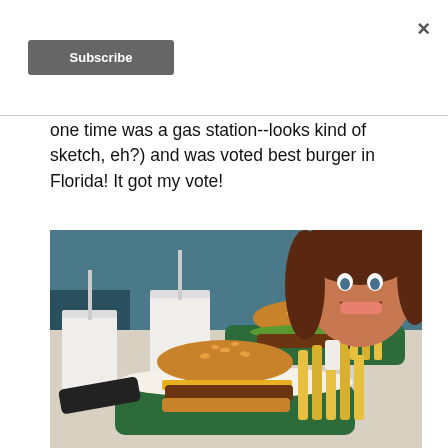×
Subscribe
one time was a gas station--looks kind of sketch, eh?) and was voted best burger in Florida! It got my vote!
[Figure (photo): A smiling young woman with brown hair leaning over a table at a diner, with two green baskets each containing a burger and fries, and two large foam cups of drinks in front of her.]